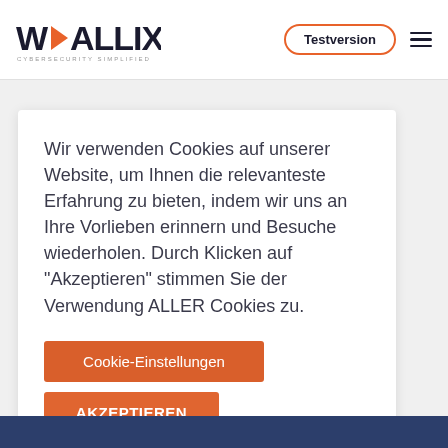[Figure (logo): WALLIX Cybersecurity Simplified logo with orange arrow/chevron between W and ALLIX]
Testversion
Wir verwenden Cookies auf unserer Website, um Ihnen die relevanteste Erfahrung zu bieten, indem wir uns an Ihre Vorlieben erinnern und Besuche wiederholen. Durch Klicken auf "Akzeptieren" stimmen Sie der Verwendung ALLER Cookies zu.
Cookie-Einstellungen
AKZEPTIEREN